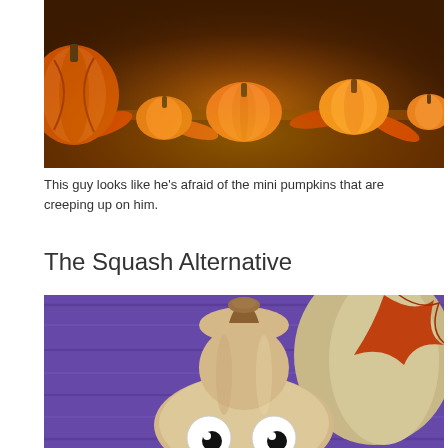[Figure (photo): A group of small orange pumpkins and autumn leaves on a warm-toned surface, photographed from above/side angle with golden-orange lighting.]
This guy looks like he's afraid of the mini pumpkins that are creeping up on him.
The Squash Alternative
[Figure (photo): A pale tan/white squash with googly eyes attached to it, set against a purple wooden background with autumn leaves and a larger squash visible behind it.]